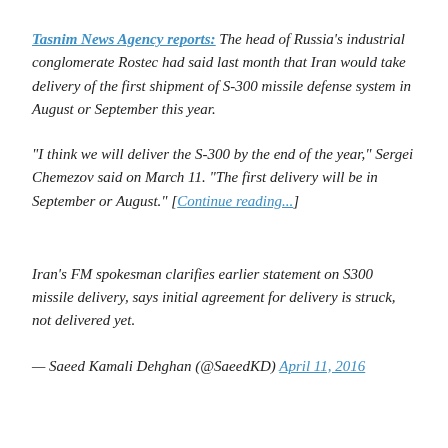Tasnim News Agency reports: The head of Russia's industrial conglomerate Rostec had said last month that Iran would take delivery of the first shipment of S-300 missile defense system in August or September this year.
“I think we will deliver the S-300 by the end of the year,” Sergei Chemezov said on March 11. “The first delivery will be in September or August.” [Continue reading...]
Iran’s FM spokesman clarifies earlier statement on S300 missile delivery, says initial agreement for delivery is struck, not delivered yet.
— Saeed Kamali Dehghan (@SaeedKD) April 11, 2016